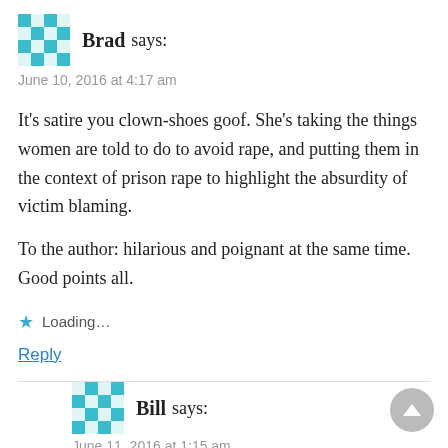Brad says:
June 10, 2016 at 4:17 am
It’s satire you clown-shoes goof. She’s taking the things women are told to do to avoid rape, and putting them in the context of prison rape to highlight the absurdity of victim blaming.
To the author: hilarious and poignant at the same time. Good points all.
Loading…
Reply
Bill says:
June 11, 2016 at 1:15 am